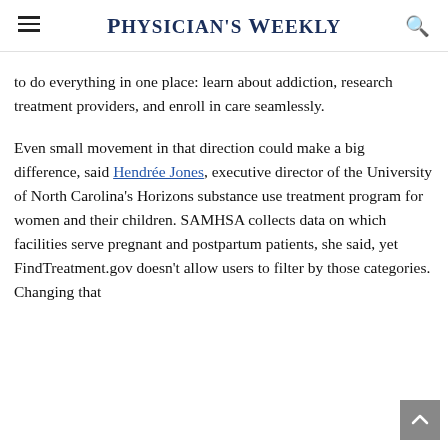Physician's Weekly
to do everything in one place: learn about addiction, research treatment providers, and enroll in care seamlessly.
Even small movement in that direction could make a big difference, said Hendrée Jones, executive director of the University of North Carolina's Horizons substance use treatment program for women and their children. SAMHSA collects data on which facilities serve pregnant and postpartum patients, she said, yet FindTreatment.gov doesn't allow users to filter by those categories. Changing that